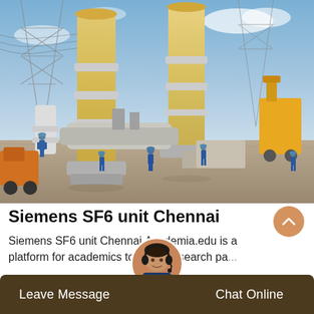[Figure (photo): Outdoor electrical substation with large SF6 circuit breaker equipment. Several workers in blue coveralls and hard hats are visible on the ground. Large yellow/cream colored cylindrical SF6 units are prominent, with steel lattice towers and a yellow crane visible in the background under a partly cloudy sky.]
Siemens SF6 unit Chennai
Siemens SF6 unit Chennai,Academia.edu is a platform for academics to share research pa...
Leave Message   Get...ace   Chat Online